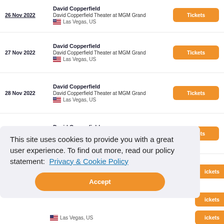26 Nov 2022 | David Copperfield | David Copperfield Theater at MGM Grand | Las Vegas, US
27 Nov 2022 | David Copperfield | David Copperfield Theater at MGM Grand | Las Vegas, US
28 Nov 2022 | David Copperfield | David Copperfield Theater at MGM Grand | Las Vegas, US
29 Nov 2022 | David Copperfield | David Copperfield Theater at MGM Grand | Las Vegas, US
This site uses cookies to provide you with a great user experience. To find out more, read our policy statement: Privacy & Cookie Policy
Accept